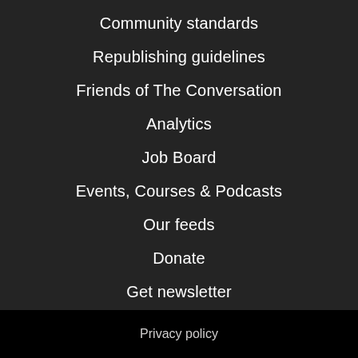Community standards
Republishing guidelines
Friends of The Conversation
Analytics
Job Board
Events, Courses & Podcasts
Our feeds
Donate
Get newsletter
[Figure (infographic): Row of 5 social media icons in white circles: Facebook, Twitter, YouTube, Instagram, LinkedIn]
Privacy policy